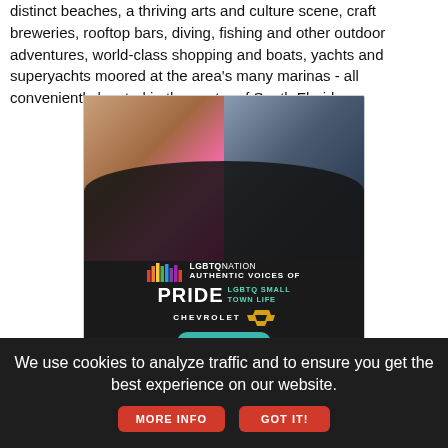distinct beaches, a thriving arts and culture scene, craft breweries, rooftop bars, diving, fishing and other outdoor adventures, world-class shopping and boats, yachts and superyachts moored at the area's many marinas - all conveniently located in the center of South Florida.
[Figure (photo): Advertisement for LGBTQ Nation - Authentic Voices of Pride, LGBTQ Small Town Life, sponsored by Chevrolet. Shows two people (one in drag with pink outfit and blue eyeshadow, one in a dark polo shirt). Features rainbow bar chart graphic, LGBTQ Nation logo, 'AUTHENTIC VOICES OF PRIDE LGBTQ SMALL TOWN LIFE', Chevrolet bowtie logo, and a 'Learn More' teal button.]
We use cookies to analyze traffic and to ensure you get the best experience on our website. MORE INFO GOT IT!